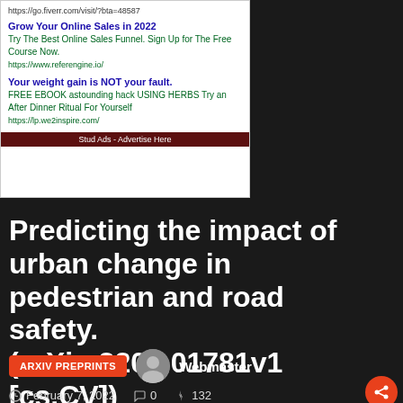[Figure (screenshot): Advertisement block with white background showing two ads: 'Grow Your Online Sales in 2022' and 'Your weight gain is NOT your fault.' with a dark red footer 'Stud Ads - Advertise Here']
Predicting the impact of urban change in pedestrian and road safety. (arXiv:2202.01781v1 [cs.CV])
ARXIV PREPRINTS   Webmaster
February 7, 2022   0   132